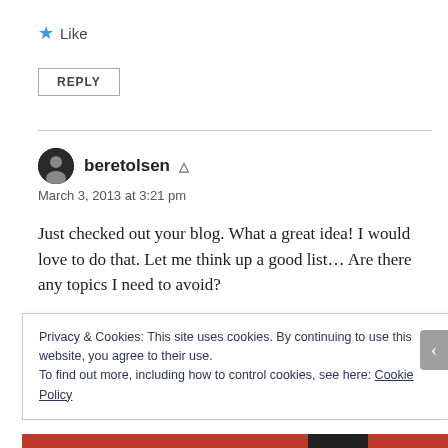★ Like
REPLY
beretolsen
March 3, 2013 at 3:21 pm
Just checked out your blog. What a great idea! I would love to do that. Let me think up a good list... Are there any topics I need to avoid?
Privacy & Cookies: This site uses cookies. By continuing to use this website, you agree to their use.
To find out more, including how to control cookies, see here: Cookie Policy
Close and accept